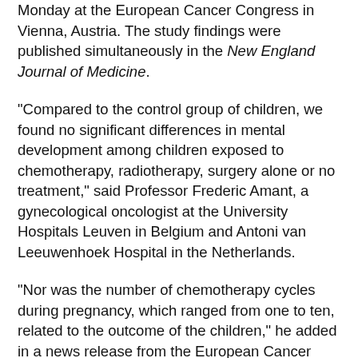Monday at the European Cancer Congress in Vienna, Austria. The study findings were published simultaneously in the New England Journal of Medicine.
"Compared to the control group of children, we found no significant differences in mental development among children exposed to chemotherapy, radiotherapy, surgery alone or no treatment," said Professor Frederic Amant, a gynecological oncologist at the University Hospitals Leuven in Belgium and Antoni van Leeuwenhoek Hospital in the Netherlands.
"Nor was the number of chemotherapy cycles during pregnancy, which ranged from one to ten, related to the outcome of the children," he added in a news release from the European Cancer Organization.
The researchers also found that preterm birth was more common among children born to mothers with cancer, regardless of whether the mothers received cancer treatment during pregnancy.
"In most cases, they were born prematurely due to a medical